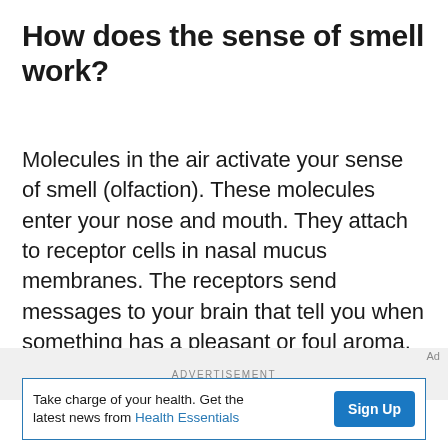How does the sense of smell work?
Molecules in the air activate your sense of smell (olfaction). These molecules enter your nose and mouth. They attach to receptor cells in nasal mucus membranes. The receptors send messages to your brain that tell you when something has a pleasant or foul aroma.
ADVERTISEMENT
Ad
Take charge of your health. Get the latest news from Health Essentials  Sign Up